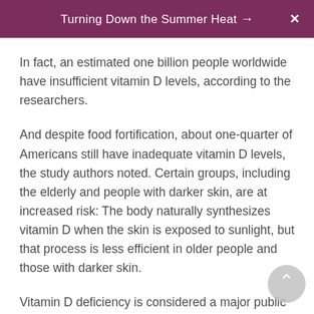Turning Down the Summer Heat →
In fact, an estimated one billion people worldwide have insufficient vitamin D levels, according to the researchers.
And despite food fortification, about one-quarter of Americans still have inadequate vitamin D levels, the study authors noted. Certain groups, including the elderly and people with darker skin, are at increased risk: The body naturally synthesizes vitamin D when the skin is exposed to sunlight, but that process is less efficient in older people and those with darker skin.
Vitamin D deficiency is considered a major public health problem because the nutrient plays vital roles in the body — keeping bones strong, contributing to normal nerve and muscle function, and supporting